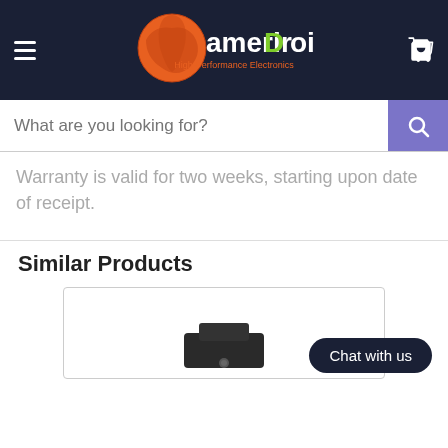[Figure (logo): AmeriDroid logo with orange globe graphic and text 'ameriDroid High-Performance Electronics' on dark navy header with hamburger menu and cart icon]
What are you looking for?
Warranty is valid for two weeks, starting upon date of receipt.
Similar Products
[Figure (photo): Product photo showing a small black electronic device/mount at the bottom of a card]
Chat with us